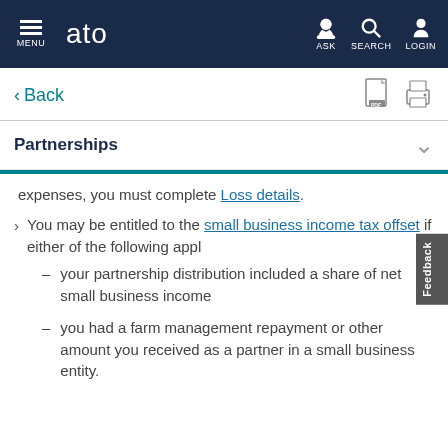ATO - MENU | ASK | SEARCH | LOGIN
< Back
Partnerships
expenses, you must complete Loss details.
You may be entitled to the small business income tax offset if either of the following appl
your partnership distribution included a share of net small business income
you had a farm management repayment or other amount you received as a partner in a small business entity.